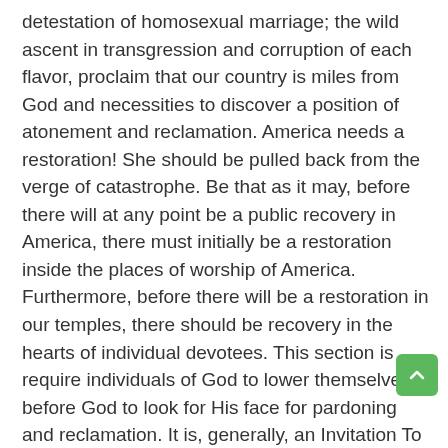detestation of homosexual marriage; the wild ascent in transgression and corruption of each flavor, proclaim that our country is miles from God and necessities to discover a position of atonement and reclamation. America needs a restoration! She should be pulled back from the verge of catastrophe. Be that as it may, before there will at any point be a public recovery in America, there must initially be a restoration inside the places of worship of America. Furthermore, before there will be a restoration in our temples, there should be recovery in the hearts of individual devotees. This section is require individuals of God to lower themselves before God to look for His face for pardoning and reclamation. It is, generally, an Invitation To Contrition. Remorse is a word you don't hear frequently. It depicts something you don't see frequently all things considered. "Remorse" signifies "true distress over transgression, with a craving to atone of that wrongdoing." It portrays individuals who are despondent that they have violated God. They are upset for what they have done and they need to make things